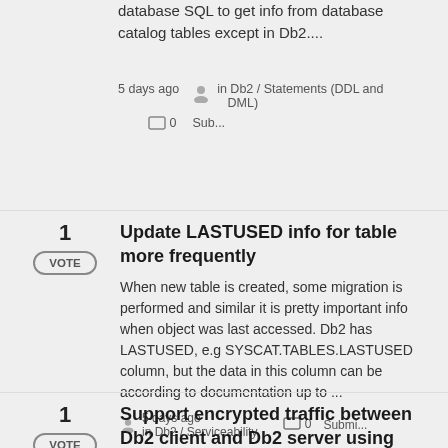database SQL to get info from database catalog tables except in Db2....
5 days ago in Db2 / Statements (DDL and DML)  0  Sub...
1  VOTE
Update LASTUSED info for table more frequently
When new table is created, some migration is performed and similar it is pretty important info when object was last accessed. Db2 has LASTUSED, e.g SYSCAT.TABLES.LASTUSED column, but the data in this column can be according to documentation up to ...
5 days ago in Db2 / Serviceability  0  Submi...
1  VOTE
Support encrypted traffic between Db2 client and Db2 server using TLSv1.3